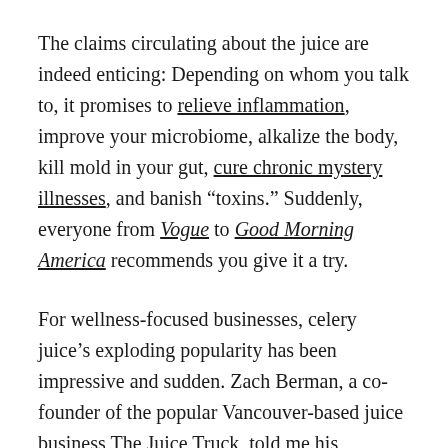The claims circulating about the juice are indeed enticing: Depending on whom you talk to, it promises to relieve inflammation, improve your microbiome, alkalize the body, kill mold in your gut, cure chronic mystery illnesses, and banish “toxins.” Suddenly, everyone from Vogue to Good Morning America recommends you give it a try.
For wellness-focused businesses, celery juice’s exploding popularity has been impressive and sudden. Zach Berman, a co-founder of the popular Vancouver-based juice business The Juice Truck, told me his company added the drink to its official menu two weeks ago as a result of overwhelming consumer demand. “This has been the most interest